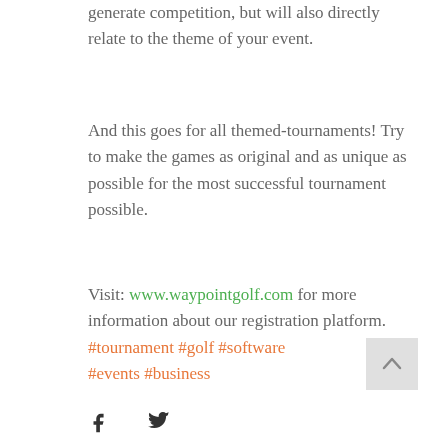generate competition, but will also directly relate to the theme of your event.
And this goes for all themed-tournaments! Try to make the games as original and as unique as possible for the most successful tournament possible.
Visit: www.waypointgolf.com for more information about our registration platform.
#tournament #golf #software #events #business
[Figure (other): Scroll-to-top button with upward chevron arrow on grey background]
[Figure (other): Social media icons: Facebook (f) and Twitter (bird)]